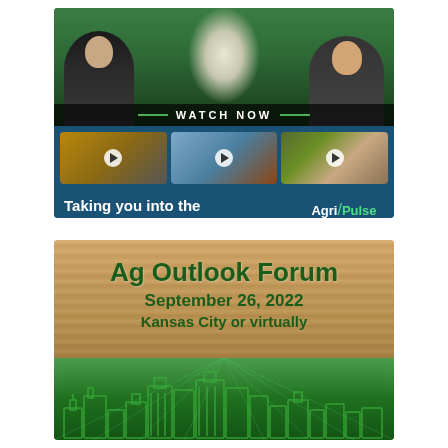[Figure (screenshot): Agri-Pulse Newsmakers advertisement showing two men in a TV studio with a Capitol building backdrop, thumbnails of video segments with play buttons, tagline 'Taking you into the heart of ag policy.' and Agri-Pulse Newsmakers logo. 'WATCH NOW' text overlay across the bottom of the main image.]
[Figure (photo): Ag Outlook Forum advertisement on a wood-grain background. Text reads 'Ag Outlook Forum', 'September 26, 2022', 'Kansas City or virtually'. Bottom portion shows a green city skyline silhouette with radiating light rays.]